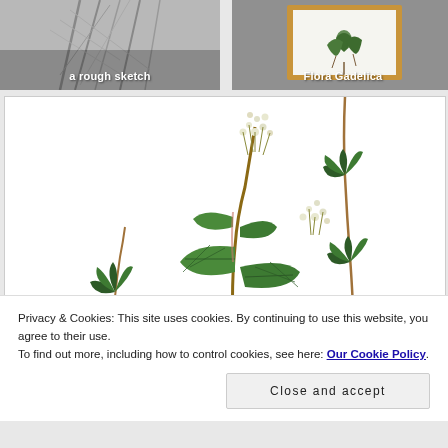[Figure (illustration): Grayscale pencil sketch of tall plants or trees, partially visible, with overlaid text label 'a rough sketch']
a rough sketch
[Figure (photo): A framed botanical illustration of ivy (Hedera helix) in a gold frame, displayed against a gray background, with text label 'Flora Gadelica']
Flora Gadelica
[Figure (illustration): Large botanical color illustration of ivy (Hedera helix) showing stems with dark green lobed leaves and clusters of small white/cream flowers, on a white background]
Privacy & Cookies: This site uses cookies. By continuing to use this website, you agree to their use.
To find out more, including how to control cookies, see here: Our Cookie Policy
Close and accept